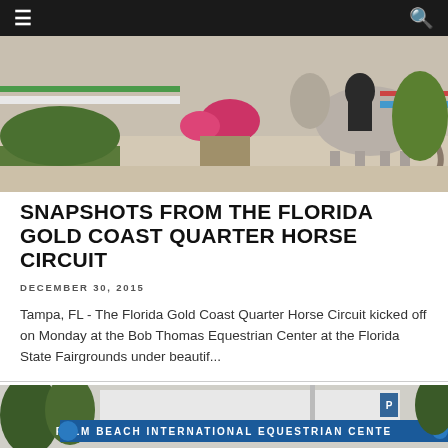≡  🔍
[Figure (photo): Equestrian show jumping scene with a grey horse and rider at a colorful jump course with pink flowers and green vegetation]
SNAPSHOTS FROM THE FLORIDA GOLD COAST QUARTER HORSE CIRCUIT
DECEMBER 30, 2015
Tampa, FL - The Florida Gold Coast Quarter Horse Circuit kicked off on Monday at the Bob Thomas Equestrian Center at the Florida State Fairgrounds under beautif...
[Figure (photo): Palm Beach International Equestrian Center entrance with signage and trees visible]